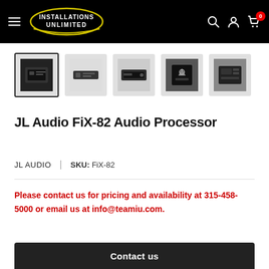Installations Unlimited — Navigation header with logo, search, account, and cart icons
[Figure (photo): Five product thumbnail images of the JL Audio FiX-82 Audio Processor device shown from various angles. First thumbnail is selected with a border.]
JL Audio FiX-82 Audio Processor
JL AUDIO | SKU: FiX-82
Please contact us for pricing and availability at 315-458-5000 or email us at info@teamiu.com.
Contact us